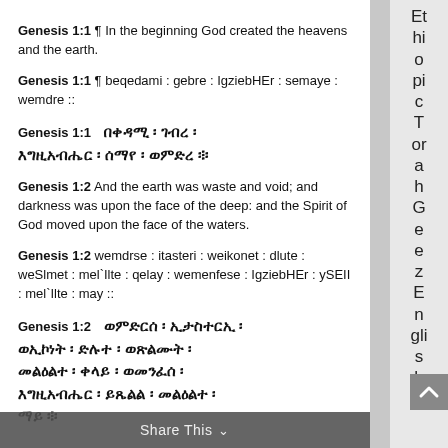Genesis 1:1 ¶ In the beginning God created the heavens and the earth.
Genesis 1:1 ¶ beqedami : gebre : IgziebHEr : semaye : wemdre ::
Genesis 1:1  በቀዳሚ ፡ ገብረ ፡ እግዚአብሔር ፡ ሰማየ ፡ ወምድረ ፨
Genesis 1:2 And the earth was waste and void; and darkness was upon the face of the deep: and the Spirit of God moved upon the face of the waters.
Genesis 1:2 wemdrse : itasteri : weikonet : dlute : weSlmet : mel`Ilte : qelay : wemenfese : IgziebHEr : ySEII : mel`Ilte : may ::
Genesis 1:2  ወምድርሰ ፡ ኢታስተርኢ፡ ወኢኮነት ፡ ድሉተ ፡ ወጽልሙት ፡ መልዕልተ ፡ ቀላይ ፡ ወመንፈሰ ፡ እግዚአብሔር ፡ ይጼልል ፡ መልዕልተ ፡ ማይ ፨
Share This
Ethiopic Torah Geez English